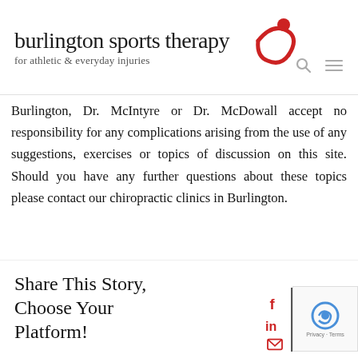[Figure (logo): Burlington Sports Therapy logo with red swoosh figure and tagline 'for athletic & everyday injuries']
Burlington, Dr. McIntyre or Dr. McDowall accept no responsibility for any complications arising from the use of any suggestions, exercises or topics of discussion on this site. Should you have any further questions about these topics please contact our chiropractic clinics in Burlington.
Share This Story, Choose Your Platform!